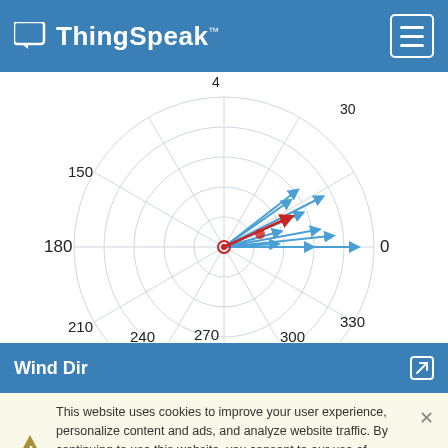ThingSpeak™
[Figure (radar-chart): Polar/radar wind direction chart showing multiple blue arrow vectors radiating from center toward approximately 0-60 degree range (east to northeast), with a red arrow pointing toward approximately 30-45 degrees. Degree labels: 0, 4 (top area), 30, 150, 180, 210, 240, 270, 300, 330 around the perimeter. Concentric circles form the grid.]
Wind Dir
This website uses cookies to improve your user experience, personalize content and ads, and analyze website traffic. By continuing to use this website, you consent to our use of cookies. Please see our Privacy Policy to learn more about cookies and how to change your settings.